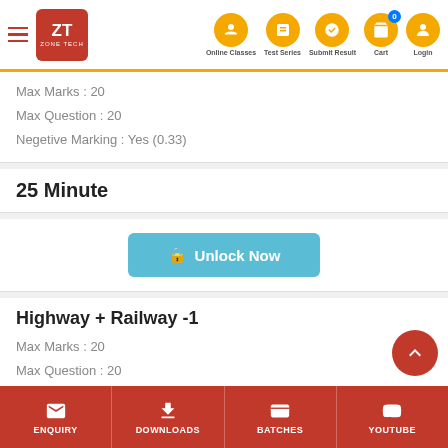[Figure (screenshot): Zone Tech website header with hamburger menu, ZT logo, and navigation icons for Online Classes, Test Series, Submit Result, Cart, Login]
Max Marks : 20
Max Question : 20
Negetive Marking : Yes (0.33)
25 Minute
Unlock Now
Highway + Railway -1
Max Marks : 20
Max Question : 20
Negetive Marking : Yes (0.33)
25 Minute
Unlock Now
ENQUIRY | DOWNLOADS | BATCHES | YOUTUBE